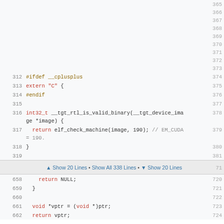Code viewer showing C/C++ source lines 312-319 and 658-662
312: #ifdef __cplusplus
313: extern "C" {
314: #endif
315: (empty)
316: int32_t __tgt_rtl_is_valid_binary(__tgt_device_image *image) {
317:   return elf_check_machine(image, 190); // EM_CUDA = 190.
318: }
319: (empty)
▲ Show 20 Lines • Show All 338 Lines • ▼ Show 20 Lines
658:     return NULL;
659:   }
660: (empty)
661:   void *vptr = (void *)ptr;
662:   return vptr;